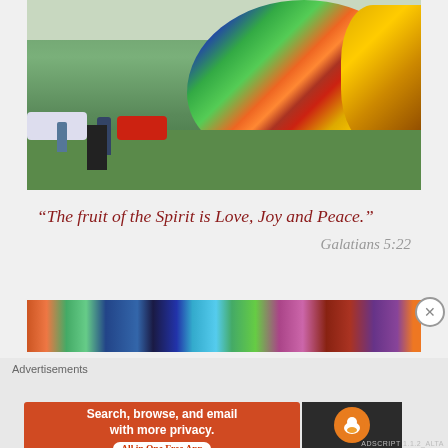[Figure (photo): Hot air balloon being inflated on a grassy field at an outdoor festival. People and camera crew visible in foreground, colorful balloon in background, cars and trees in distance.]
“The fruit of the Spirit is Love, Joy and Peace.”
Galatians 5:22
[Figure (photo): Close-up of colorful hot air balloon panels showing vivid multicolored sections of fabric.]
Advertisements
[Figure (other): DuckDuckGo advertisement banner: Search, browse, and email with more privacy. All in One Free App. DuckDuckGo logo on dark background.]